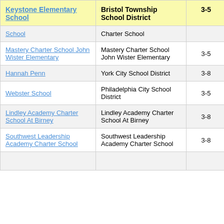| School | District | Grades | Value |
| --- | --- | --- | --- |
| Keystone Elementary School | Bristol Township School District | 3-5 | -2. |
| School | Charter School |  |  |
| Mastery Charter School John Wister Elementary | Mastery Charter School John Wister Elementary | 3-5 | 2. |
| Hannah Penn | York City School District | 3-8 | 1. |
| Webster School | Philadelphia City School District | 3-5 | -1. |
| Lindley Academy Charter School At Birney | Lindley Academy Charter School At Birney | 3-8 | 1. |
| Southwest Leadership Academy Charter School | Southwest Leadership Academy Charter School | 3-8 | 0. |